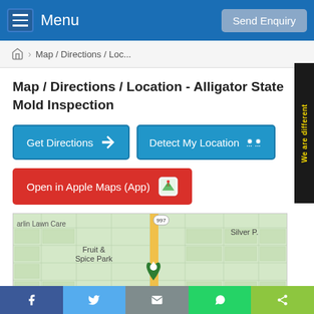Menu | Send Enquiry
Map / Directions / Loc...
Map / Directions / Location - Alligator State Mold Inspection
Get Directions
Detect My Location
Open in Apple Maps (App)
[Figure (map): Google map showing area around Fruit & Spice Park and Redland, Florida near route 997, with a green map pin marker]
f | Twitter | Email | WhatsApp | Share